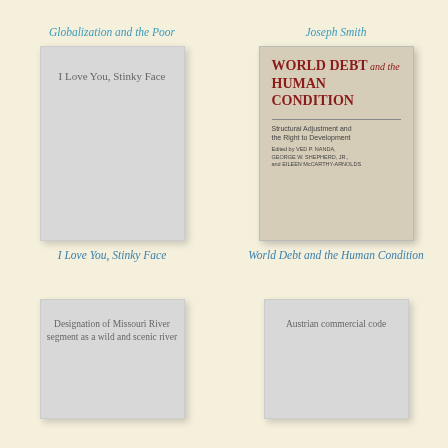Globalization and the Poor
Joseph Smith
[Figure (illustration): Book cover placeholder for 'I Love You, Stinky Face' — grey rectangle with text]
[Figure (photo): Book cover of 'World Debt and the Human Condition: Structural Adjustment and the Right to Development', tan/beige hardcover with red title text]
I Love You, Stinky Face
World Debt and the Human Condition
[Figure (illustration): Book cover placeholder for 'Designation of Missouri River segment as a wild and scenic river' — grey rectangle with text]
[Figure (illustration): Book cover placeholder for 'Austrian commercial code' — grey rectangle with text]